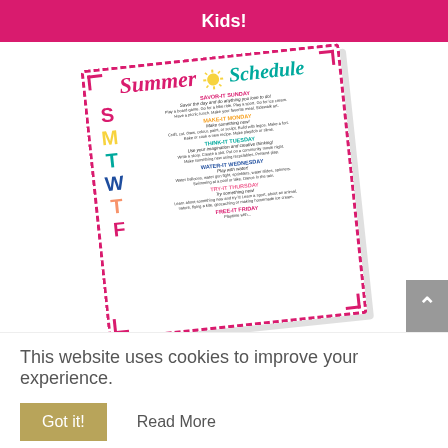Kids!
[Figure (illustration): A tilted Summer Schedule card with colorful day letters (S, M, T, W, T, F) and daily activity descriptions inside a dashed pink border. Title reads 'Summer Schedule' in pink and teal script fonts with a yellow sun icon.]
This website uses cookies to improve your experience.
Got it!
Read More